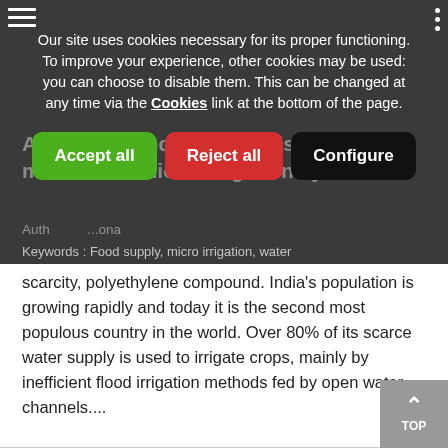[Figure (screenshot): Dark website header with hamburger menu icon on left and three-dot menu icon on right]
Our site uses cookies necessary for its proper functioning. To improve your experience, other cookies may be used: you can choose to disable them. This can be changed at any time via the Cookies link at the bottom of the page.
[Figure (screenshot): Three cookie consent buttons: Accept all (green), Reject all (red), Configure (black)]
Agriculture India: comparison of modern PE micro-irrigation systems
Authors: [partially obscured] ona
Keywords : Food supply, micro irrigation, water scarcity, polyethylene compound. India's population is growing rapidly and today it is the second most populous country in the world. Over 80% of its scarce water supply is used to irrigate crops, mainly by inefficient flood irrigation methods fed by open water channels....